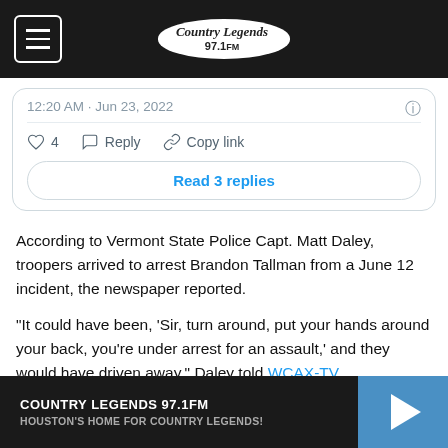Country Legends 97.1fm
12:20 AM · Jun 23, 2022
♡ 4   Reply   Copy link
Read 3 replies
According to Vermont State Police Capt. Matt Daley, troopers arrived to arrest Brandon Tallman from a June 12 incident, the newspaper reported.
"It could have been, 'Sir, turn around, put your hands around your back, you're under arrest for an assault,' and they would have driven away," Daley told WCAX-TV.
COUNTRY LEGENDS 97.1FM
HOUSTON'S HOME FOR COUNTRY LEGENDS!